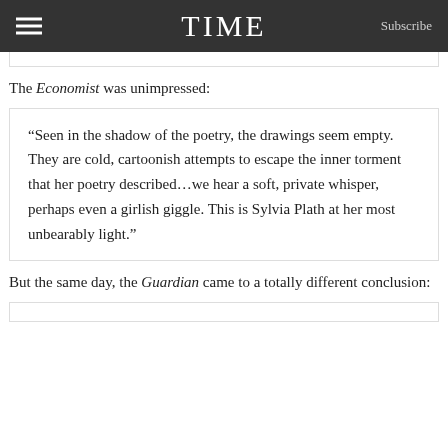TIME  Subscribe
The Economist was unimpressed:
“Seen in the shadow of the poetry, the drawings seem empty. They are cold, cartoonish attempts to escape the inner torment that her poetry described…we hear a soft, private whisper, perhaps even a girlish giggle. This is Sylvia Plath at her most unbearably light.”
But the same day, the Guardian came to a totally different conclusion: